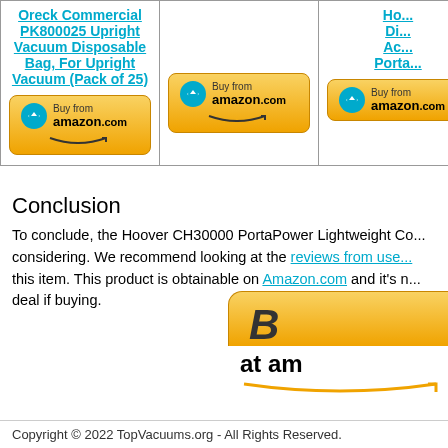| Product 1 | Product 2 | Product 3 |
| --- | --- | --- |
| Oreck Commercial PK800025 Upright Vacuum Disposable Bag, For Upright Vacuum (Pack of 25) | (empty) | Ho... Di... Ac... Porta... |
| Buy from amazon.com | Buy from amazon.com | Buy from amazon.com |
Conclusion
To conclude, the Hoover CH30000 PortaPower Lightweight Co... considering. We recommend looking at the reviews from use... this item. This product is obtainable on Amazon.com and it's n... deal if buying.
[Figure (other): Large Buy from Amazon.com button with orange gradient and Amazon smile logo]
Copyright © 2022 TopVacuums.org - All Rights Reserved.